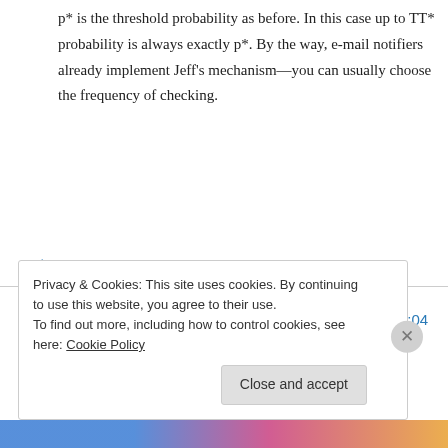p* is the threshold probability as before. In this case up to TT* probability is always exactly p*. By the way, e-mail notifiers already implement Jeff's mechanism—you can usually choose the frequency of checking.
↳ Reply
Anonymous on March 7, 2012 at 8:04 am
Great post as always.
Privacy & Cookies: This site uses cookies. By continuing to use this website, you agree to their use.
To find out more, including how to control cookies, see here: Cookie Policy
Close and accept